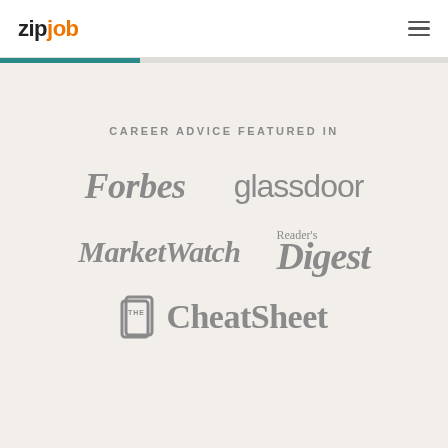zipjob
CAREER ADVICE FEATURED IN
[Figure (logo): Forbes logo in gray]
[Figure (logo): glassdoor logo in gray]
[Figure (logo): MarketWatch logo in gray italic serif font]
[Figure (logo): Reader's Digest logo in gray italic serif font]
[Figure (logo): The CheatSheet logo in gray with document icon]